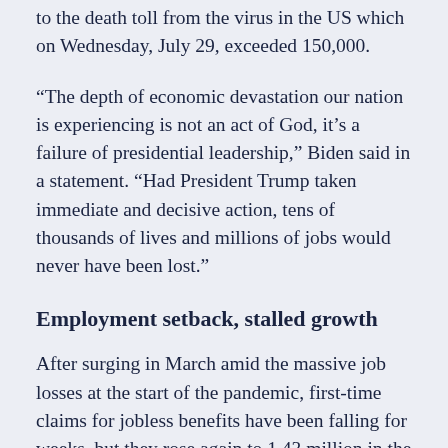to the death toll from the virus in the US which on Wednesday, July 29, exceeded 150,000.
“The depth of economic devastation our nation is experiencing is not an act of God, it’s a failure of presidential leadership,” Biden said in a statement. “Had President Trump taken immediate and decisive action, tens of thousands of lives and millions of jobs would never have been lost.”
Employment setback, stalled growth
After surging in March amid the massive job losses at the start of the pandemic, first-time claims for jobless benefits have been falling for weeks, but they rose again to 1.43 million in the week ended July 25, the Labor Department said